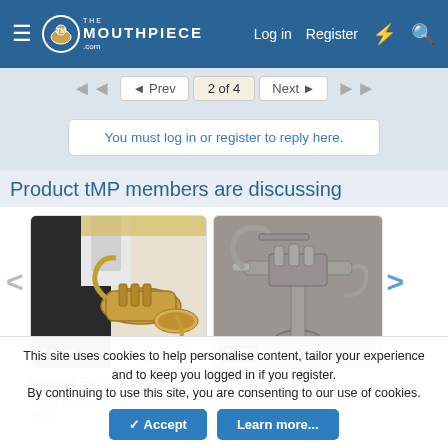The Mouthpiece — Log in | Register
◄ Prev   2 of 4   Next ►
You must log in or register to reply here.
Product tMP members are discussing
[Figure (photo): Vintage Besson Cornet case (case only) product photo, gold/brass colored cornet, price tag £1596]
Vintage Besson Cornet case (case only)
eBay
[Figure (photo): King 1503 Cornet product photo, silver/aged finish cornet, price tag £225]
King 1503 Cornet
eBay
This site uses cookies to help personalise content, tailor your experience and to keep you logged in if you register.
By continuing to use this site, you are consenting to our use of cookies.
Accept   Learn more...